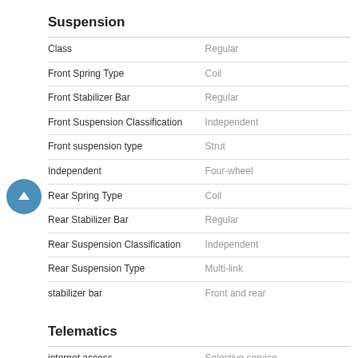Suspension
| Property | Value |
| --- | --- |
| Class | Regular |
| Front Spring Type | Coil |
| Front Stabilizer Bar | Regular |
| Front Suspension Classification | Independent |
| Front suspension type | Strut |
| Independent | Four-wheel |
| Rear Spring Type | Coil |
| Rear Stabilizer Bar | Regular |
| Rear Suspension Classification | Independent |
| Rear Suspension Type | Multi-link |
| stabilizer bar | Front and rear |
Telematics
| Property | Value |
| --- | --- |
| internet access | Selective service |
| smart device integration | Entune App Suite |
| wireless phone connectivity | Bluetooth |